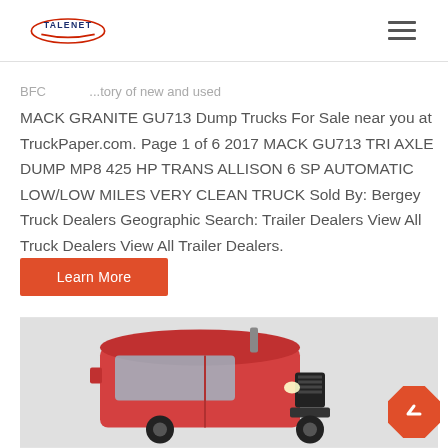TALENET
BFC ...tory of new and used MACK GRANITE GU713 Dump Trucks For Sale near you at TruckPaper.com. Page 1 of 6 2017 MACK GU713 TRI AXLE DUMP MP8 425 HP TRANS ALLISON 6 SP AUTOMATIC LOW/LOW MILES VERY CLEAN TRUCK Sold By: Bergey Truck Dealers Geographic Search: Trailer Dealers View All Truck Dealers View All Trailer Dealers.
Learn More
[Figure (photo): Red/pink Mack truck cab, front-angled view on a light gray background]